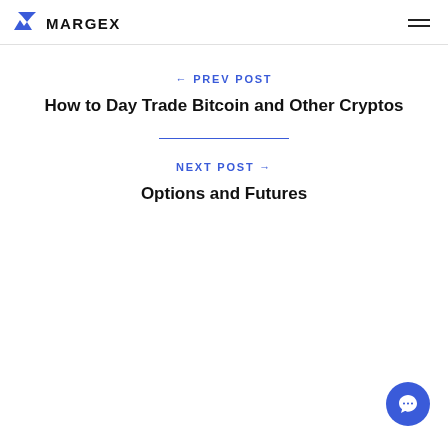MARGEX
← PREV POST
How to Day Trade Bitcoin and Other Cryptos
NEXT POST →
Options and Futures